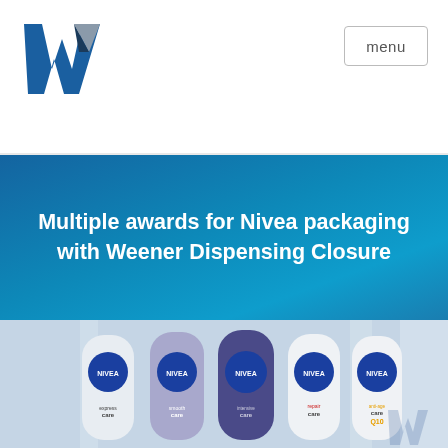[Figure (logo): Weener logo: bold blue and grey W shape on white background]
menu
Multiple awards for Nivea packaging with Weener Dispensing Closure
[Figure (photo): Five Nivea hand cream bottles (expressCare, smoothCare, intensiveCare, repairCare, anti-ageCare Q10) displayed in a bathroom setting with blue tones]